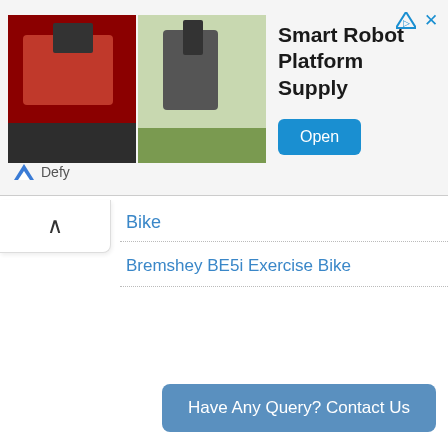[Figure (screenshot): Advertisement banner for Smart Robot Platform Supply app by Defy, showing two robot images on the left, bold title text in the center, an Open button on the right, and ad icons (triangle/arrow and X) in the top right corner.]
Smart Robot Platform Supply
Open
Defy
Bike
Bremshey BE5i Exercise Bike
Have Any Query? Contact Us